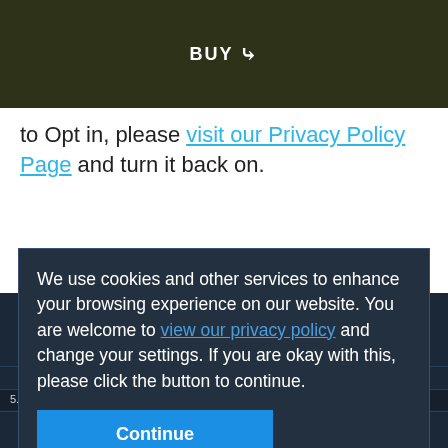BUY
to Opt in, please visit our Privacy Policy Page and turn it back on.
We use cookies and other services to enhance your browsing experience on our website. You are welcome to view our privacy policy and change your settings. If you are okay with this, please click the button to continue.
Continue
5.0 Surround    25
Files